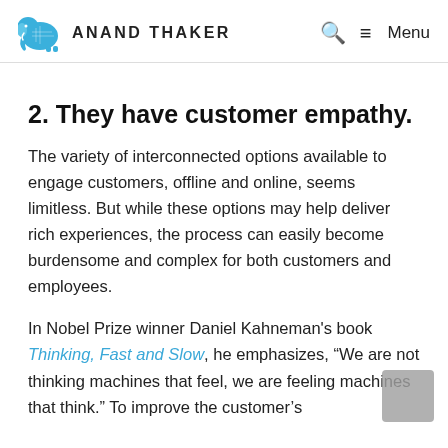ANAND THAKER   🔍  ≡ Menu
2. They have customer empathy.
The variety of interconnected options available to engage customers, offline and online, seems limitless. But while these options may help deliver rich experiences, the process can easily become burdensome and complex for both customers and employees.
In Nobel Prize winner Daniel Kahneman's book Thinking, Fast and Slow, he emphasizes, "We are not thinking machines that feel, we are feeling machines that think." To improve the customer's